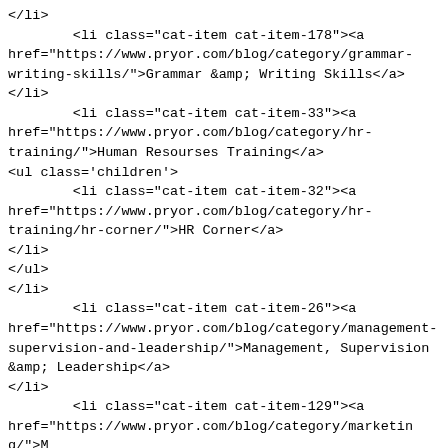</li>
        <li class="cat-item cat-item-178"><a href="https://www.pryor.com/blog/category/grammar-writing-skills/">Grammar &amp; Writing Skills</a>
</li>
        <li class="cat-item cat-item-33"><a href="https://www.pryor.com/blog/category/hr-training/">Human Resourses Training</a>
<ul class='children'>
        <li class="cat-item cat-item-32"><a href="https://www.pryor.com/blog/category/hr-training/hr-corner/">HR Corner</a>
</li>
</ul>
</li>
        <li class="cat-item cat-item-26"><a href="https://www.pryor.com/blog/category/management-supervision-and-leadership/">Management, Supervision &amp; Leadership</a>
</li>
        <li class="cat-item cat-item-129"><a href="https://www.pryor.com/blog/category/marketing/">Marketing</a>
</li>
        <li class="cat-item cat-item-147"><a href="https://www.pryor.com/blog/category/medical/">Medical</a>
</li>
        <li class="cat-item cat-item-80"><a href="https://www.pryor.com/blog/category/osha-and-